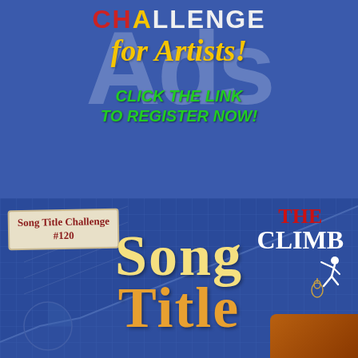CHALLENGE for Artists!
CLICK THE LINK
TO REGISTER NOW!
Song Title Challenge #120
The Climb
Song Title